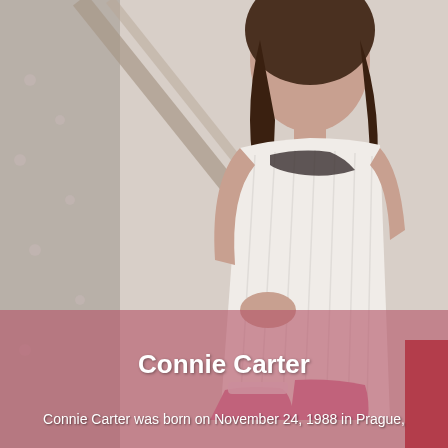[Figure (photo): A young woman with long dark brown hair wearing a white ribbed sleeveless dress and white thigh-high stockings, posing in a bedroom setting with a curtain in the background. The lower portion of the image has a semi-transparent pink/rose overlay.]
Connie Carter
Connie Carter was born on November 24, 1988 in Prague,